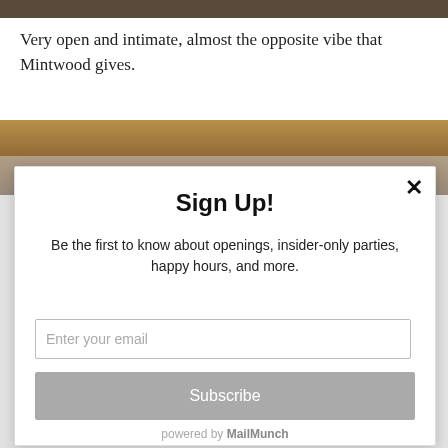[Figure (photo): Cropped top edge of a photograph, dark brown tones]
Very open and intimate, almost the opposite vibe that Mintwood gives.
[Figure (photo): Partial photograph of a wooden surface or table, warm brown tones]
Sign Up!
Be the first to know about openings, insider-only parties, happy hours, and more.
Enter your email
Subscribe
powered by MailMunch